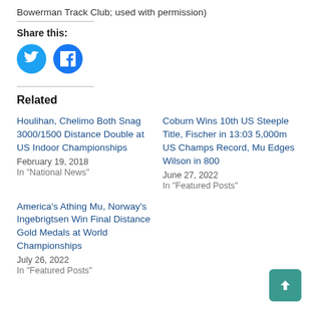Bowerman Track Club; used with permission)
Share this:
[Figure (other): Social share icons: Twitter (blue bird) and Facebook (blue f)]
Related
Houlihan, Chelimo Both Snag 3000/1500 Distance Double at US Indoor Championships
February 19, 2018
In "National News"
Coburn Wins 10th US Steeple Title, Fischer in 13:03 5,000m US Champs Record, Mu Edges Wilson in 800
June 27, 2022
In "Featured Posts"
America's Athing Mu, Norway's Ingebrigtsen Win Final Distance Gold Medals at World Championships
July 26, 2022
In "Featured Posts"